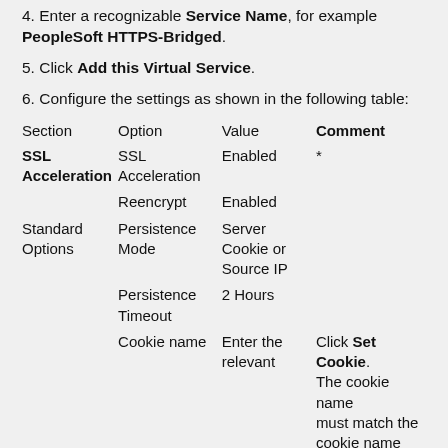4. Enter a recognizable Service Name, for example PeopleSoft HTTPS-Bridged.
5. Click Add this Virtual Service.
6. Configure the settings as shown in the following table:
| Section | Option | Value | Comment |
| --- | --- | --- | --- |
| SSL Acceleration | SSL Acceleration | Enabled | * |
|  | Reencrypt | Enabled |  |
| Standard Options | Persistence Mode | Server Cookie or Source IP |  |
|  | Persistence Timeout | 2 Hours |  |
|  | Cookie name | Enter the relevant | Click Set Cookie. The cookie name must match the cookie name |